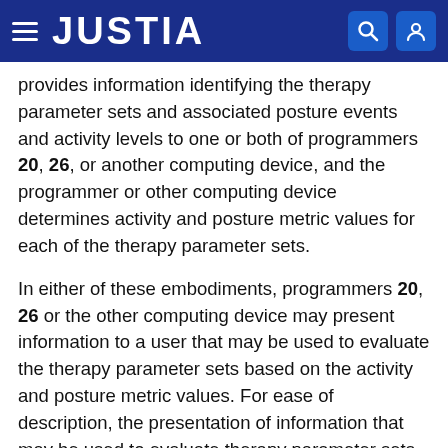JUSTIA
provides information identifying the therapy parameter sets and associated posture events and activity levels to one or both of programmers 20, 26, or another computing device, and the programmer or other computing device determines activity and posture metric values for each of the therapy parameter sets.
In either of these embodiments, programmers 20, 26 or the other computing device may present information to a user that may be used to evaluate the therapy parameter sets based on the activity and posture metric values. For ease of description, the presentation of information that may be used to evaluate therapy parameter sets will be described hereafter with reference to embodiments in which clinician programmer 20 presents information to a clinician. However, it is understood that, in some embodiments,